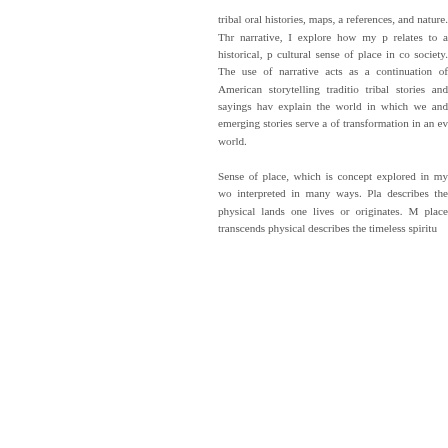tribal oral histories, maps, a references, and nature. Thr narrative, I explore how my p relates to a historical, p cultural sense of place in co society. The use of narrative acts as a continuation of American storytelling traditio tribal stories and sayings hav explain the world in which we and emerging stories serve a of transformation in an ev world.
Sense of place, which is concept explored in my wo interpreted in many ways. Pla describes the physical lands one lives or originates. M place transcends physical describes the timeless spiritu